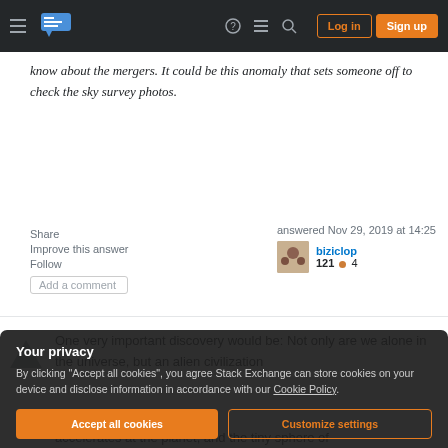Stack Exchange navigation bar with hamburger menu, logo, help, chat, search icons, Log in and Sign up buttons
know about the mergers. It could be this anomaly that sets someone off to check the sky survey photos.
Share
Improve this answer
Follow
Add a comment
answered Nov 29, 2019 at 14:25
biziclop
121 ● 4
One very important discovery would be: Not only are we alone in the universe, but an alien civilization
[Figure (other): Privacy consent modal overlay with dark background. Title: Your privacy. Body: By clicking "Accept all cookies", you agree Stack Exchange can store cookies on your device and disclose information in accordance with our Cookie Policy. Buttons: Accept all cookies (orange filled), Customize settings (orange outlined).]
accelerates at the planet, and the tiny sphere of